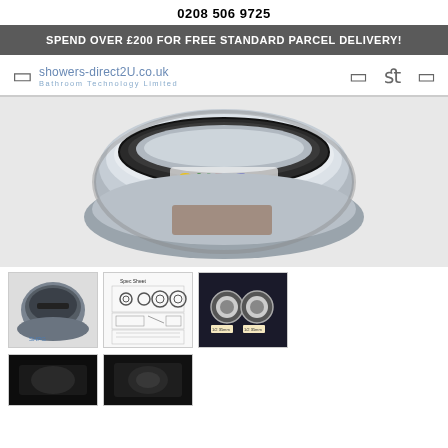0208 506 9725
SPEND OVER £200 FOR FREE STANDARD PARCEL DELIVERY!
[Figure (logo): showers-direct2U.co.uk logo with subtitle 'Bathroom Technology Limited' and navigation icons]
[Figure (photo): Close-up photo of a chrome plumbing fitting/valve with SHPG label visible on white background]
[Figure (photo): Thumbnail: front view of chrome circular plumbing fitting with slot]
[Figure (photo): Thumbnail: technical diagram/spec sheet showing fitting dimensions and variants]
[Figure (photo): Thumbnail: two chrome fittings installed in dark background with labels]
[Figure (photo): Thumbnail: partial photo of dark background product]
[Figure (photo): Thumbnail: another partial product photo]